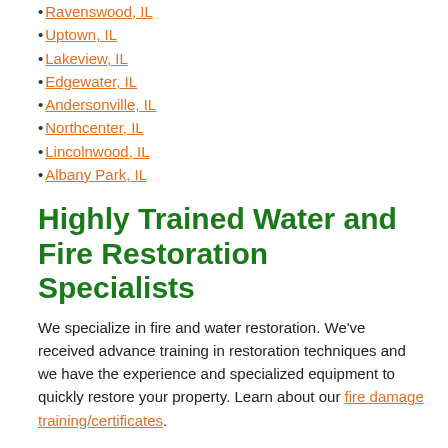Ravenswood, IL
Uptown, IL
Lakeview, IL
Edgewater, IL
Andersonville, IL
Northcenter, IL
Lincolnwood, IL
Albany Park, IL
Highly Trained Water and Fire Restoration Specialists
We specialize in fire and water restoration. We've received advance training in restoration techniques and we have the experience and specialized equipment to quickly restore your property. Learn about our fire damage training/certificates.
Our Fire Restoration Process
Every fire damage event is a little different and requires a unique solution, but the general process stays the same. The steps listed below illustrate our process for the "typical" fire